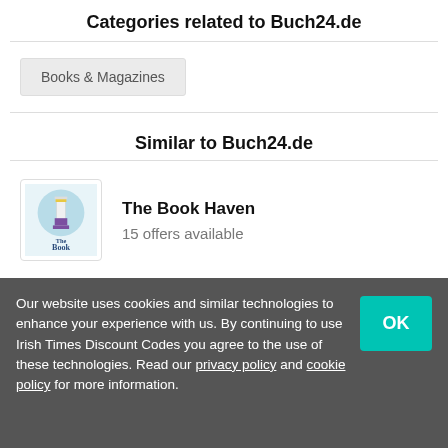Categories related to Buch24.de
Books & Magazines
Similar to Buch24.de
The Book Haven
15 offers available
OpeningMinds
7 offers available
Our website uses cookies and similar technologies to enhance your experience with us. By continuing to use Irish Times Discount Codes you agree to the use of these technologies. Read our privacy policy and cookie policy for more information.